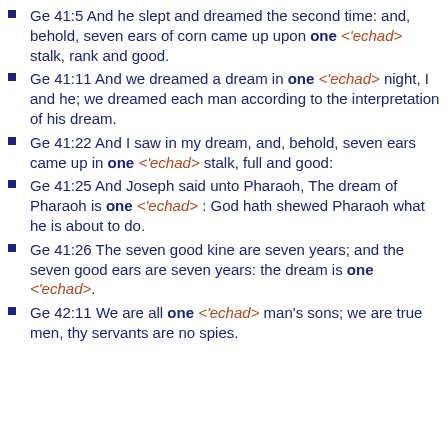Ge 41:5 And he slept and dreamed the second time: and, behold, seven ears of corn came up upon one <'echad> stalk, rank and good.
Ge 41:11 And we dreamed a dream in one <'echad> night, I and he; we dreamed each man according to the interpretation of his dream.
Ge 41:22 And I saw in my dream, and, behold, seven ears came up in one <'echad> stalk, full and good:
Ge 41:25 And Joseph said unto Pharaoh, The dream of Pharaoh is one <'echad> : God hath shewed Pharaoh what he is about to do.
Ge 41:26 The seven good kine are seven years; and the seven good ears are seven years: the dream is one <'echad>.
Ge 42:11 We are all one <'echad> man's sons; we are true men, thy servants are no spies.